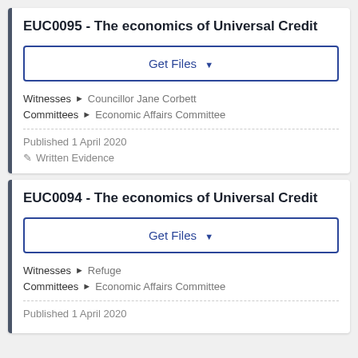EUC0095 - The economics of Universal Credit
Get Files
Witnesses ▶ Councillor Jane Corbett
Committees ▶ Economic Affairs Committee
Published 1 April 2020
Written Evidence
EUC0094 - The economics of Universal Credit
Get Files
Witnesses ▶ Refuge
Committees ▶ Economic Affairs Committee
Published 1 April 2020